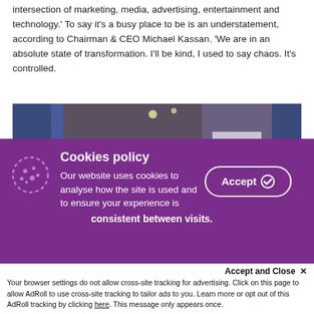intersection of marketing, media, advertising, entertainment and technology.' To say it's a busy place to be is an understatement, according to Chairman & CEO Michael Kassan. 'We are in an absolute state of transformation. I'll be kind, I used to say chaos. It's controlled.
[Figure (photo): Photograph of a bald man wearing glasses and a dark suit jacket, taken at an indoor event/conference venue with other people visible in the background.]
Cookies policy
Our website uses cookies to analyse how the site is used and to ensure your experience is consistent between visits.
Accept and Close ✕
Your browser settings do not allow cross-site tracking for advertising. Click on this page to allow AdRoll to use cross-site tracking to tailor ads to you. Learn more or opt out of this AdRoll tracking by clicking here. This message only appears once.